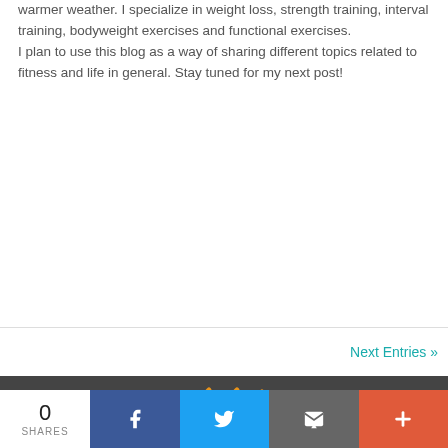warmer weather. I specialize in weight loss, strength training, interval training, bodyweight exercises and functional exercises.
I plan to use this blog as a way of sharing different topics related to fitness and life in general. Stay tuned for my next post!
Next Entries »
[Figure (other): Dark grey footer banner with orange diagonal slash lines]
0 SHARES | Facebook | Twitter | Email | More